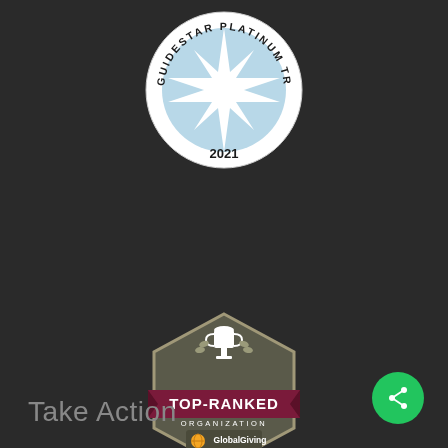[Figure (logo): GuideStar Platinum Transparency 2021 seal — circular badge with blue star in center and text around the rim]
[Figure (logo): GlobalGiving Top-Ranked Organization 2021 badge — dark hexagonal badge with trophy icon, purple ribbon banner reading TOP-RANKED ORGANIZATION, and GlobalGiving 2021 text]
Take Action